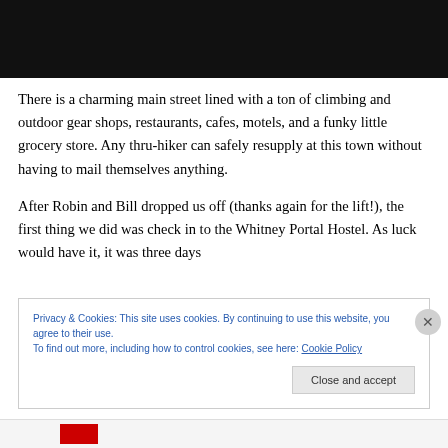[Figure (photo): Black image bar at the top of the page, likely a cropped photograph]
There is a charming main street lined with a ton of climbing and outdoor gear shops, restaurants, cafes, motels, and a funky little grocery store. Any thru-hiker can safely resupply at this town without having to mail themselves anything.
After Robin and Bill dropped us off (thanks again for the lift!), the first thing we did was check in to the Whitney Portal Hostel. As luck would have it, it was three days
Privacy & Cookies: This site uses cookies. By continuing to use this website, you agree to their use.
To find out more, including how to control cookies, see here: Cookie Policy